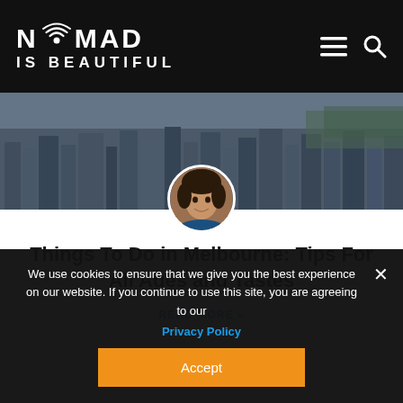NOMAD IS BEAUTIFUL
[Figure (photo): Aerial view of Melbourne cityscape with dense urban buildings, green spaces visible at edges]
[Figure (photo): Circular author avatar photo showing a woman with dark hair, smiling]
Things To Do in Melbourne: Tips For All Ages and Tastes
READ MORE »
We use cookies to ensure that we give you the best experience on our website. If you continue to use this site, you are agreeing to our Privacy Policy
Accept